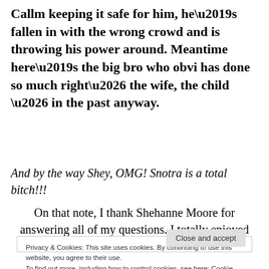Callm keeping it safe for him, he’s fallen in with the wrong crowd and is throwing his power around. Meantime here’s the big bro who obvi has done so much right… the wife, the child … in the past anyway.
And by the way Shey, OMG! Snotra is a total bitch!!!
On that note, I thank Shehanne Moore for answering all of my questions. I totally enjoyed
Privacy & Cookies: This site uses cookies. By continuing to use this website, you agree to their use.
To find out more, including how to control cookies, see here: Cookie Policy